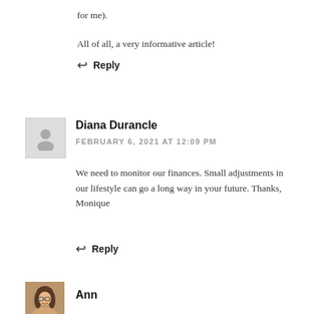for me).
All of all, a very informative article!
↩ Reply
[Figure (illustration): Generic user avatar placeholder — gray silhouette of a person on light gray background, inside a thin border box]
Diana Durancle
FEBRUARY 6, 2021 AT 12:09 PM
We need to monitor our finances. Small adjustments in our lifestyle can go a long way in your future. Thanks, Monique
↩ Reply
[Figure (photo): Photo of a woman named Ann with glasses and long hair, smiling]
Ann